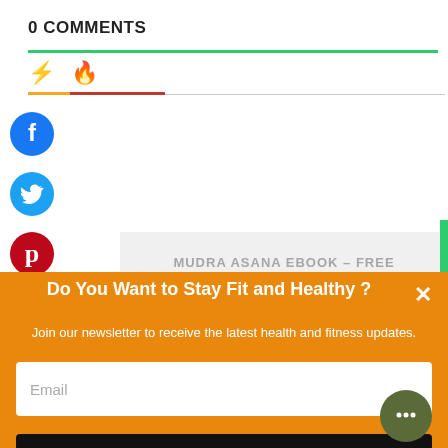0 COMMENTS
[Figure (infographic): Tab icons: lightning bolt (orange) and fire (red/orange) with colored underlines]
[Figure (infographic): Facebook social share icon - blue circle with white f]
[Figure (infographic): Twitter social share icon - cyan circle with white bird]
[Figure (infographic): Pinterest social share icon - red circle with white P]
MUDRA ASANA EBOOK – FREE
Do You Want to Stay Fit and Healthy ?
Join our newsletter to receive the latest health and fitness updates.
Email
SUBSCRIBE